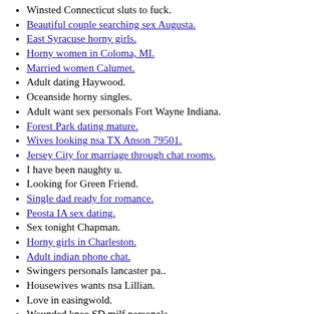Winsted Connecticut sluts to fuck.
Beautiful couple searching sex Augusta.
East Syracuse horny girls.
Horny women in Coloma, MI.
Married women Calumet.
Adult dating Haywood.
Oceanside horny singles.
Adult want sex personals Fort Wayne Indiana.
Forest Park dating mature.
Wives looking nsa TX Anson 79501.
Jersey City for marriage through chat rooms.
I have been naughty u.
Looking for Green Friend.
Single dad ready for romance.
Peosta IA sex dating.
Sex tonight Chapman.
Horny girls in Charleston.
Adult indian phone chat.
Swingers personals lancaster pa..
Housewives wants nsa Lillian.
Love in easingwold.
Wounded knee SD milf personals.
hot sexy nude in Albion Illinois-nude Big Dick-girls for adult fun